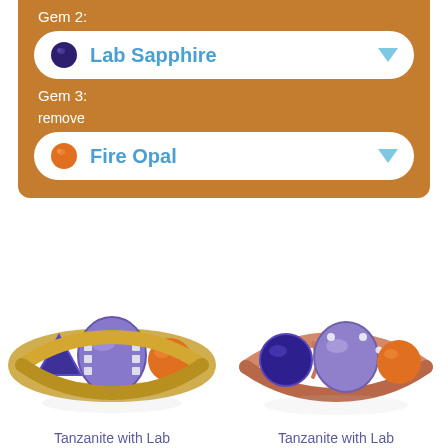Gem 2:
[Figure (screenshot): Dropdown selector showing Lab Sapphire with dark blue gem icon and blue dropdown arrow]
Gem 3:
remove
[Figure (screenshot): Dropdown selector showing Fire Opal with orange gem icon and blue dropdown arrow]
[Figure (photo): Yellow gold ring with tanzanite, lab sapphire and fire opal gemstones]
[Figure (photo): Rose gold ring with tanzanite, lab sapphire and fire opal gemstones]
Tanzanite with Lab Sapphire and Fire Opal
Tanzanite with Lab Sapphire and Fire Opal